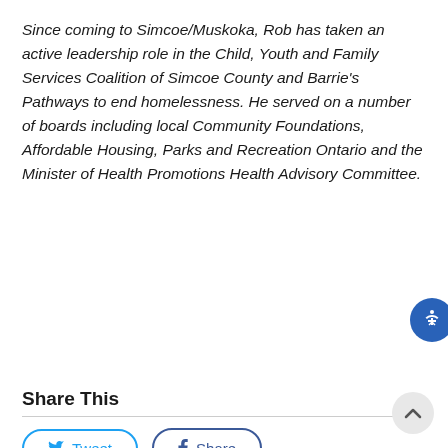Since coming to Simcoe/Muskoka, Rob has taken an active leadership role in the Child, Youth and Family Services Coalition of Simcoe County and Barrie's Pathways to end homelessness. He served on a number of boards including local Community Foundations, Affordable Housing, Parks and Recreation Ontario and the Minister of Health Promotions Health Advisory Committee.
Share This
[Figure (other): Tweet button with Twitter bird icon and Share button with Facebook f icon]